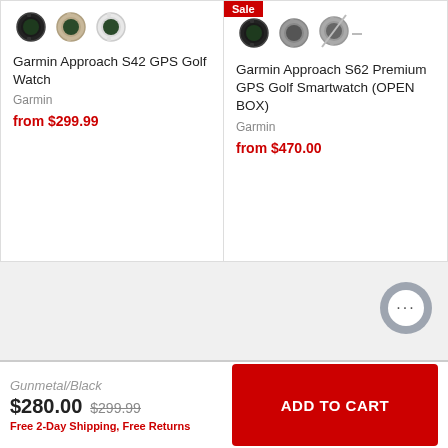[Figure (screenshot): Product card for Garmin Approach S42 GPS Golf Watch showing three color swatch watches (black, beige, white), product name, brand Garmin, and price from $299.99]
Garmin Approach S42 GPS Golf Watch
Garmin
from $299.99
Sale
[Figure (screenshot): Product card for Garmin Approach S62 Premium GPS Golf Smartwatch (OPEN BOX) with Sale badge, showing three color swatches (black, grey, grey crossed out), brand Garmin, price from $470.00]
Garmin Approach S62 Premium GPS Golf Smartwatch (OPEN BOX)
Garmin
from $470.00
Powered by
Gunmetal/Black
$280.00 $299.99
Free 2-Day Shipping,  Free Returns
ADD TO CART